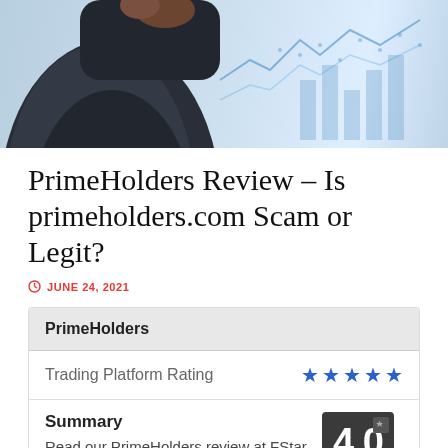[Figure (photo): Hero image showing a person in a dark suit with financial chart background in blue tones]
PrimeHolders Review – Is primeholders.com Scam or Legit?
JUNE 24, 2021
| PrimeHolders |  |
| --- | --- |
| Trading Platform Rating | ★★★★★ |
| Summary
Read our PrimeHolders review at FStar Capital Forex and Cryptocurrency Trading | 4.0
★★★★ |